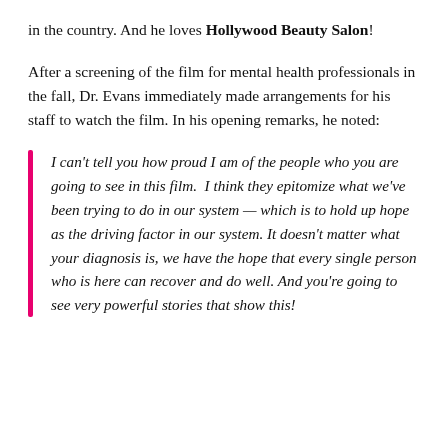in the country. And he loves Hollywood Beauty Salon!
After a screening of the film for mental health professionals in the fall, Dr. Evans immediately made arrangements for his staff to watch the film. In his opening remarks, he noted:
I can't tell you how proud I am of the people who you are going to see in this film.  I think they epitomize what we've been trying to do in our system — which is to hold up hope as the driving factor in our system. It doesn't matter what your diagnosis is, we have the hope that every single person who is here can recover and do well. And you're going to see very powerful stories that show this!